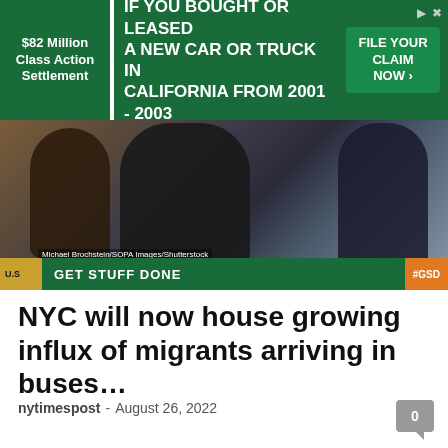[Figure (infographic): Advertisement banner: $82 Million Class Action Settlement - IF YOU BOUGHT OR LEASED A NEW CAR OR TRUCK IN CALIFORNIA FROM 2001 - 2003 - FILE YOUR CLAIM NOW button]
[Figure (photo): Photo of people at what appears to be an event or arrival, with a green banner overlay reading GET STUFF DONE and hashtag #GSD. U.S. tag visible at bottom left. Photo credit: Michael Brochstein/SOPA Images/Shutterstock]
NYC will now house growing influx of migrants arriving in buses…
nytimespost - August 26, 2022